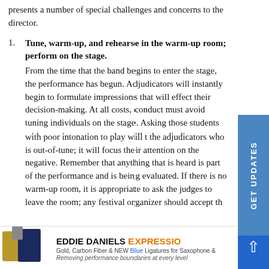presents a number of special challenges and concerns to the director.
Tune, warm-up, and rehearse in the warm-up room; perform on the stage. From the time that the band begins to enter the stage, the performance has begun. Adjudicators will instantly begin to formulate impressions that will effect their decision-making. At all costs, conductors must avoid tuning individuals on the stage. Asking those students with poor intonation to play will tell the adjudicators who is out-of-tune; it will focus their attention on the negative. Remember that anything that is heard is part of the performance and is being evaluated. If there is no warm-up room, it is appropriate to ask the judges to leave the room; any festival organizer should accept th...
[Figure (other): Advertisement banner for Eddie Daniels Expressions ligatures: Gold, Carbon Fiber & NEW Blue Ligatures for Saxophone & other instruments. Removing performance boundaries at every level.]